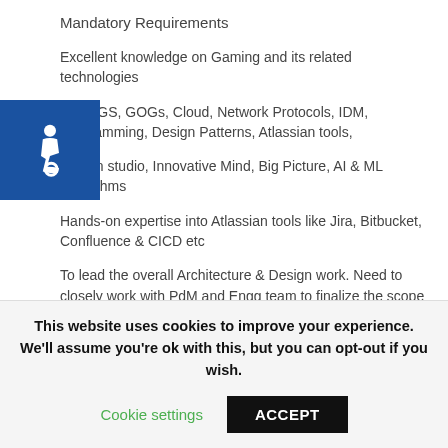Mandatory Requirements
Excellent knowledge on Gaming and its related technologies
CC, EGS, GOGs, Cloud, Network Protocols, IDM, Programming, Design Patterns, Atlassian tools,
Design studio, Innovative Mind, Big Picture, AI & ML Algorithms
Hands-on expertise into Atlassian tools like Jira, Bitbucket, Confluence & CICD etc
To lead the overall Architecture & Design work. Need to closely work with PdM and Engg team to finalize the scope and DoD.
Expertise on both OnPrem and Cloud.
Exposure to AI, ML, gaming Technologies
This website uses cookies to improve your experience. We'll assume you're ok with this, but you can opt-out if you wish.
Cookie settings   ACCEPT